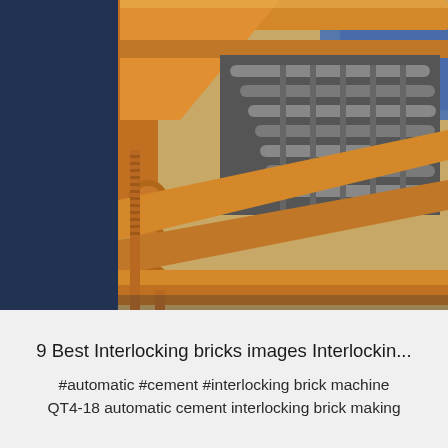[Figure (photo): Close-up photograph of a yellow/orange industrial interlocking brick making machine (QT4-18 automatic cement interlocking brick machine), showing mechanical rollers, press beams, and mold components inside the machine frame.]
9 Best Interlocking bricks images Interlockin...
#automatic #cement #interlocking brick machine QT4-18 automatic cement interlocking brick making